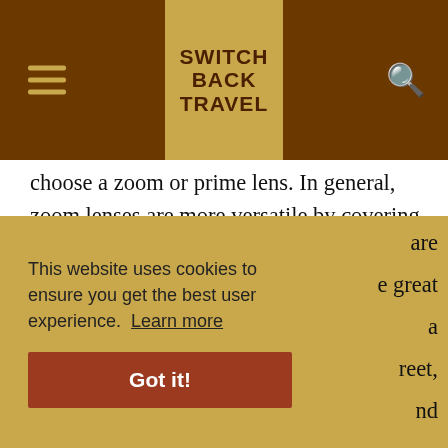SWITCH BACK TRAVEL
choose a zoom or prime lens. In general, zoom lenses are more versatile by covering a range of focal lengths, while primes often are superior optically with faster maximum apertures and less distortion. In addition, primes often are smaller, although that's not always the case and you may need to carry multiple lenses to cover your desired focal length. Then you can look for other qualities like are ... be great ... a ... street, ... and ... al length you want, then weigh the options in that category.
This website uses cookies to ensure you get the best user experience. Learn more
Got it!